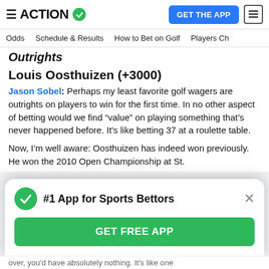ACTION (logo) | GET THE APP
Odds | Schedule & Results | How to Bet on Golf | Players Ch
Louis Oosthuizen (+3000)
Jason Sobel: Perhaps my least favorite golf wagers are outrights on players to win for the first time. In no other aspect of betting would we find “value” on playing something that’s never happened before. It’s like betting 37 at a roulette table.
Now, I’m well aware: Oosthuizen has indeed won previously. He won the 2010 Open Championship at St.
#1 App for Sports Bettors
GET FREE APP